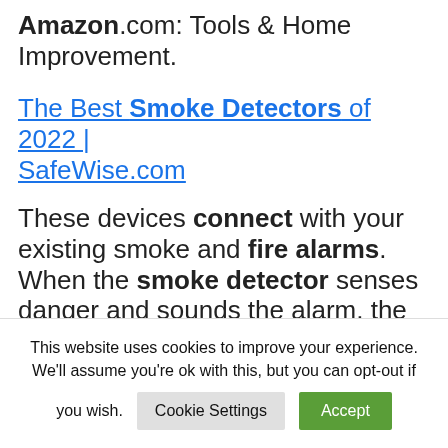Amazon.com: Tools & Home Improvement.
The Best Smoke Detectors of 2022 | SafeWise.com
These devices connect with your existing smoke and fire alarms. When the smoke detector senses danger and sounds the alarm, the strobe light will flash to ...
Manage Alexa Guard – Amazon
This website uses cookies to improve your experience. We'll assume you're ok with this, but you can opt-out if you wish. Cookie Settings Accept